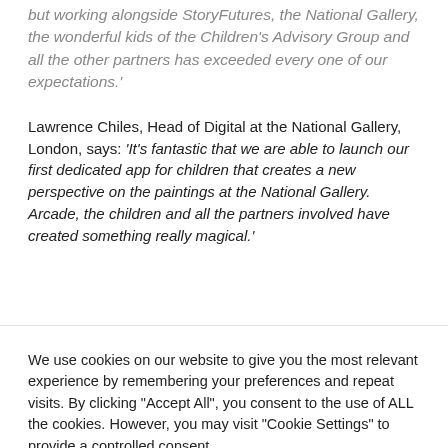but working alongside StoryFutures, the National Gallery, the wonderful kids of the Children's Advisory Group and all the other partners has exceeded every one of our expectations.'
Lawrence Chiles, Head of Digital at the National Gallery, London, says: 'It's fantastic that we are able to launch our first dedicated app for children that creates a new perspective on the paintings at the National Gallery. Arcade, the children and all the partners involved have created something really magical.'
We use cookies on our website to give you the most relevant experience by remembering your preferences and repeat visits. By clicking "Accept All", you consent to the use of ALL the cookies. However, you may visit "Cookie Settings" to provide a controlled consent.